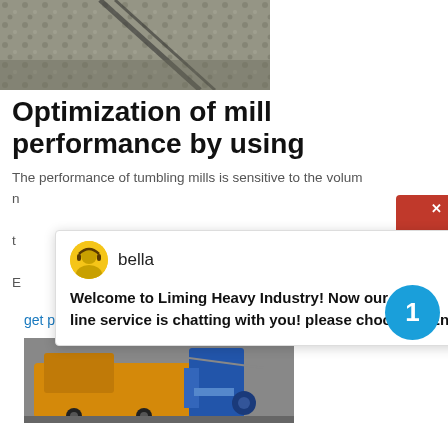[Figure (photo): Aerial view of crushed stone/aggregate material on a conveyor belt or processing site, gray rocks]
Optimization of mill performance by using
The performance of tumbling mills is sensitive to the volume
...
...
vital to obtain regular measurements of the ball load and pulp position. The
get price
[Figure (photo): Yellow mining/crushing machinery on a work site, industrial equipment]